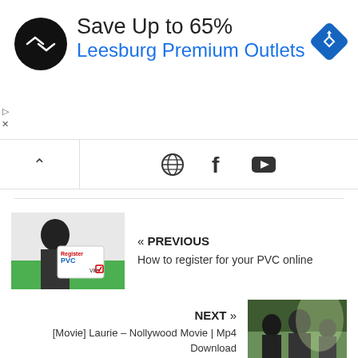[Figure (other): Advertisement banner: black circle logo with double arrow icon, text 'Save Up to 65%' and 'Leesburg Premium Outlets' in blue, blue diamond navigation icon on right. Small play and close icons on left edge.]
[Figure (other): Navigation bar with up-chevron button on left and three social media icons: globe/world icon, Facebook 'f' icon, YouTube play button icon]
[Figure (other): PREVIOUS navigation item with thumbnail image of person holding PVC card with Register text and Vote checkbox, and text 'PREVIOUS / How to register for your PVC online']
[Figure (other): NEXT navigation item with text '[Movie] Laurie – Nollywood Movie | Mp4 Download' and movie poster thumbnail showing people]
RELATED ARTICLES